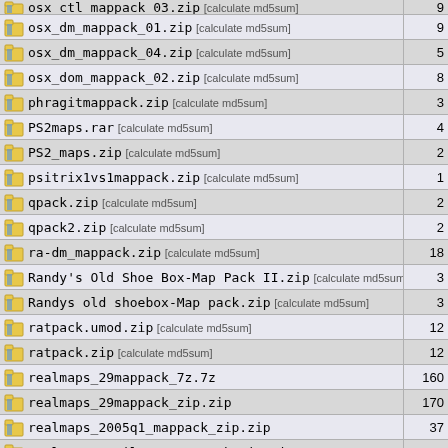| Filename | Size |
| --- | --- |
| osx_ctl_mappack_03.zip [calculate md5sum] | 9 |
| osx_dm_mappack_01.zip [calculate md5sum] | 9 |
| osx_dm_mappack_04.zip [calculate md5sum] | 5 |
| osx_dom_mappack_02.zip [calculate md5sum] | 8 |
| phragitmappack.zip [calculate md5sum] | 3 |
| PS2maps.rar [calculate md5sum] | 4 |
| PS2_maps.zip [calculate md5sum] | 2 |
| psitrix1vs1mappack.zip [calculate md5sum] | 1 |
| qpack.zip [calculate md5sum] | 2 |
| qpack2.zip [calculate md5sum] | 2 |
| ra-dm_mappack.zip [calculate md5sum] | 18 |
| Randy's Old Shoe Box-Map Pack II.zip [calculate md5sum] | 3 |
| Randys old shoebox-Map pack.zip [calculate md5sum] | 3 |
| ratpack.umod.zip [calculate md5sum] | 12 |
| ratpack.zip [calculate md5sum] | 12 |
| realmaps_29mappack_7z.7z | 160 |
| realmaps_29mappack_zip.zip | 170 |
| realmaps_2005q1_mappack_zip.zip | 37 |
| realmaps_april2001_mappack_zip.zip | 38 |
| realmaps_april2002_mappack_zip.zip | 45 |